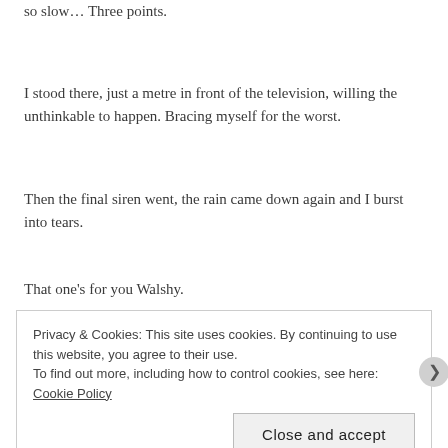so slow… Three points.
I stood there, just a metre in front of the television, willing the unthinkable to happen. Bracing myself for the worst.
Then the final siren went, the rain came down again and I burst into tears.
That one's for you Walshy.
Privacy & Cookies: This site uses cookies. By continuing to use this website, you agree to their use.
To find out more, including how to control cookies, see here: Cookie Policy
Close and accept